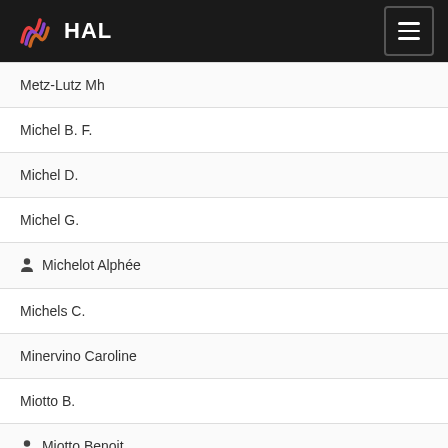HAL
Metz-Lutz Mh
Michel B. F.
Michel D.
Michel G.
Michelot Alphée
Michels C.
Minervino Caroline
Miotto B.
Miotto Benoit
Miquerol L.
Miquerol Lucile